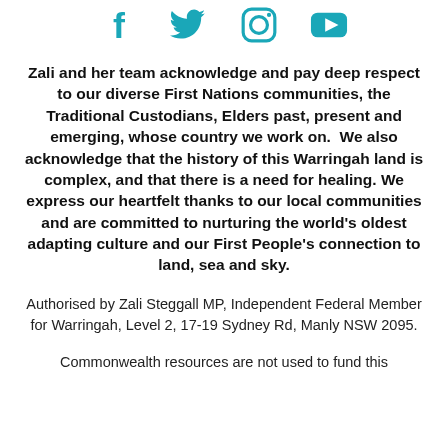[Figure (illustration): Four social media icons in teal/cyan color: Facebook (f), Twitter (bird), Instagram (camera), YouTube (play button triangle)]
Zali and her team acknowledge and pay deep respect to our diverse First Nations communities, the Traditional Custodians, Elders past, present and emerging, whose country we work on.  We also acknowledge that the history of this Warringah land is complex, and that there is a need for healing. We express our heartfelt thanks to our local communities and are committed to nurturing the world's oldest adapting culture and our First People's connection to land, sea and sky.
Authorised by Zali Steggall MP, Independent Federal Member for Warringah, Level 2, 17-19 Sydney Rd, Manly NSW 2095.
Commonwealth resources are not used to fund this